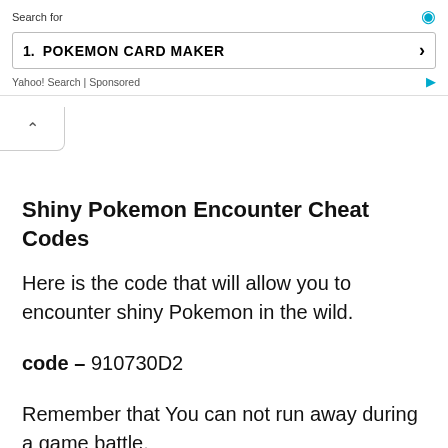Search for | POKEMON CARD MAKER | Yahoo! Search | Sponsored
Shiny Pokemon Encounter Cheat Codes
Here is the code that will allow you to encounter shiny Pokemon in the wild.
code – 910730D2
Remember that You can not run away during a game battle.